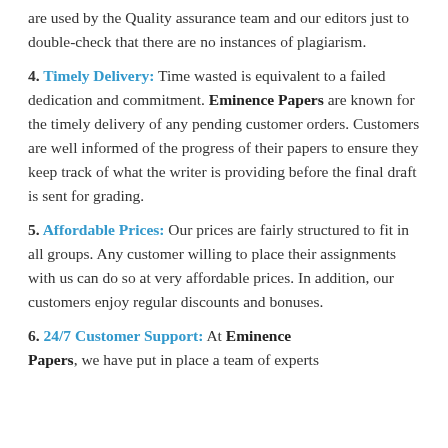are used by the Quality assurance team and our editors just to double-check that there are no instances of plagiarism.
4. Timely Delivery: Time wasted is equivalent to a failed dedication and commitment. Eminence Papers are known for the timely delivery of any pending customer orders. Customers are well informed of the progress of their papers to ensure they keep track of what the writer is providing before the final draft is sent for grading.
5. Affordable Prices: Our prices are fairly structured to fit in all groups. Any customer willing to place their assignments with us can do so at very affordable prices. In addition, our customers enjoy regular discounts and bonuses.
6. 24/7 Customer Support: At Eminence Papers, we have put in place a team of experts